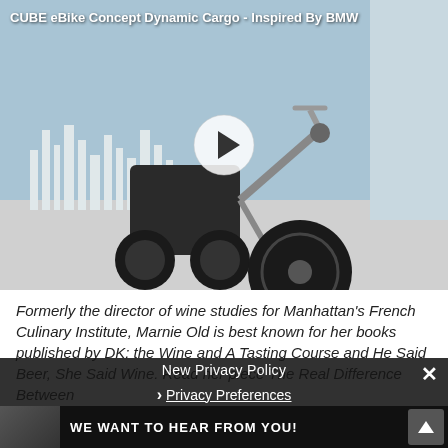[Figure (screenshot): Video thumbnail of CUBE eBike Concept Dynamic Cargo - Inspired By BMW, showing a three-wheeled electric cargo bike in a studio/architectural setting with a play button overlay]
Formerly the director of wine studies for Manhattan's French Culinary Institute, Marnie Old is best known for her books published by DK: the [Wine] and A Tasting Course and He Said Beer, She Said Wine. Read her piece The Real Difference Between Red and White Wine.
[Figure (screenshot): New Privacy Policy overlay modal with 'New Privacy Policy' title, Privacy Preferences link, I Agree button, and X close button on dark semi-transparent background]
[Figure (screenshot): Bottom bar showing 'WE WANT TO HEAR FROM YOU!' text with a person thumbnail and scroll-to-top button]